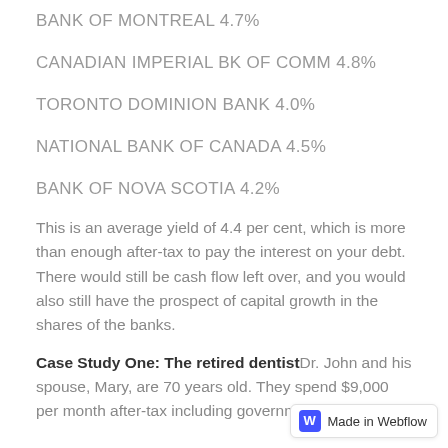BANK OF MONTREAL 4.7%
CANADIAN IMPERIAL BK OF COMM 4.8%
TORONTO DOMINION BANK 4.0%
NATIONAL BANK OF CANADA 4.5%
BANK OF NOVA SCOTIA 4.2%
This is an average yield of 4.4 per cent, which is more than enough after-tax to pay the interest on your debt. There would still be cash flow left over, and you would also still have the prospect of capital growth in the shares of the banks.
Case Study One: The retired dentist Dr. John and his spouse, Mary, are 70 years old. They spend $9,000 per month after-tax including government …